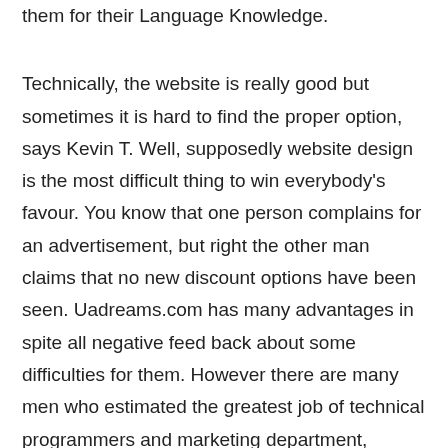them for their Language Knowledge. Technically, the website is really good but sometimes it is hard to find the proper option, says Kevin T. Well, supposedly website design is the most difficult thing to win everybody's favour. You know that one person complains for an advertisement, but right the other man claims that no new discount options have been seen. Uadreams.com has many advantages in spite all negative feed back about some difficulties for them. However there are many men who estimated the greatest job of technical programmers and marketing department, indeed